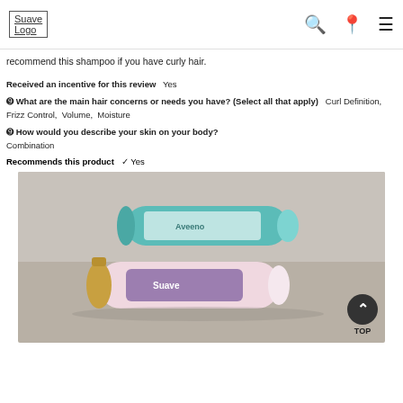Suave Logo
recommend this shampoo if you have curly hair.
Received an incentive for this review   Yes
What are the main hair concerns or needs you have? (Select all that apply)   Curl Definition,  Frizz Control,  Volume,  Moisture
How would you describe your skin on your body?  Combination
Recommends this product   ✔ Yes
[Figure (photo): Photo of two hair product bottles lying on a surface: one teal/green bottle (appears to be Aveeno or similar) and one pink Suave bottle with a gold pump cap.]